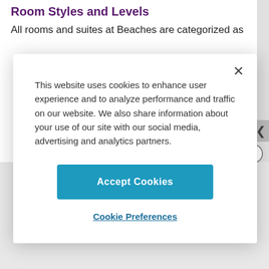Room Styles and Levels
All rooms and suites at Beaches are categorized as
[Figure (screenshot): Cookie consent modal dialog with close X button, cookie notice text, Accept Cookies button, and Cookie Preferences link]
This website uses cookies to enhance user experience and to analyze performance and traffic on our website. We also share information about your use of our site with our social media, advertising and analytics partners.
Accept Cookies
Cookie Preferences
ADVERTISEMENT
By proceeding, you agree to our Privacy Policy and Terms of Use.